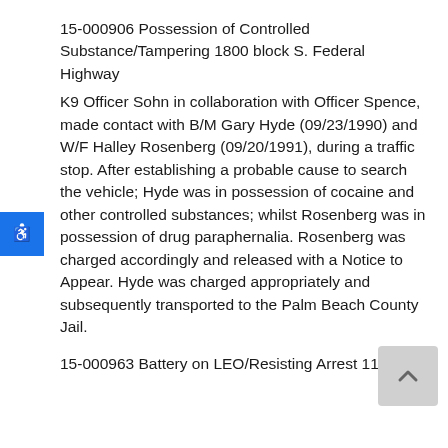15-000906 Possession of Controlled Substance/Tampering 1800 block S. Federal Highway
K9 Officer Sohn in collaboration with Officer Spence, made contact with B/M Gary Hyde (09/23/1990) and W/F Halley Rosenberg (09/20/1991), during a traffic stop. After establishing a probable cause to search the vehicle; Hyde was in possession of cocaine and other controlled substances; whilst Rosenberg was in possession of drug paraphernalia. Rosenberg was charged accordingly and released with a Notice to Appear. Hyde was charged appropriately and subsequently transported to the Palm Beach County Jail.
15-000963 Battery on LEO/Resisting Arrest 1100